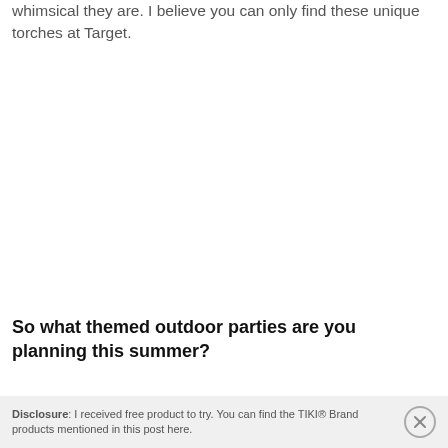whimsical they are. I believe you can only find these unique torches at Target.
So what themed outdoor parties are you planning this summer?
Disclosure: I received free product to try. You can find the TIKI® Brand products mentioned in this post here.